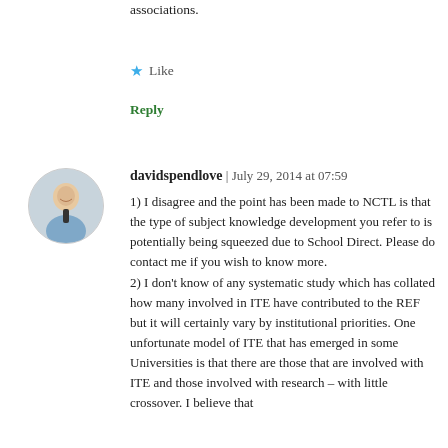and by association, HEI providers and subject associations.
Like
Reply
[Figure (photo): Circular avatar photo of a man in a shirt and tie, smiling]
davidspendlove | July 29, 2014 at 07:59
1) I disagree and the point has been made to NCTL is that the type of subject knowledge development you refer to is potentially being squeezed due to School Direct. Please do contact me if you wish to know more.
2) I don't know of any systematic study which has collated how many involved in ITE have contributed to the REF but it will certainly vary by institutional priorities. One unfortunate model of ITE that has emerged in some Universities is that there are those that are involved with ITE and those involved with research – with little crossover. I believe that